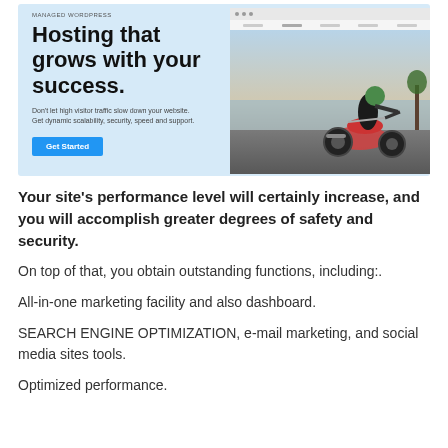[Figure (screenshot): Screenshot of a web hosting advertisement showing 'Hosting that grows with your success.' headline, a Get Started button, and a photo of a woman riding a motorcycle on the right side.]
Your site's performance level will certainly increase, and you will accomplish greater degrees of safety and security.
On top of that, you obtain outstanding functions, including:.
All-in-one marketing facility and also dashboard.
SEARCH ENGINE OPTIMIZATION, e-mail marketing, and social media sites tools.
Optimized performance.